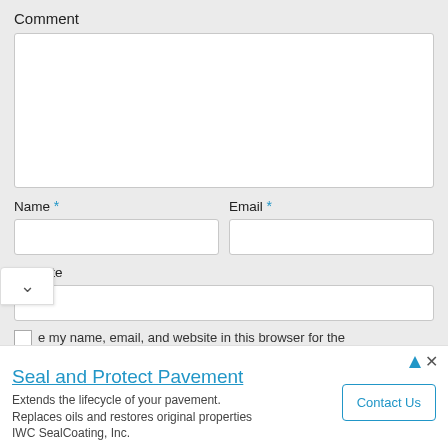Comment
[Figure (screenshot): Comment textarea, empty white box]
Name *
Email *
[Figure (screenshot): Name input field, empty]
[Figure (screenshot): Email input field, empty]
Website
[Figure (screenshot): Website input field, empty]
Save my name, email, and website in this browser for the next time I comment.
Seal and Protect Pavement
Extends the lifecycle of your pavement. Replaces oils and restores original properties IWC SealCoating, Inc.
Contact Us